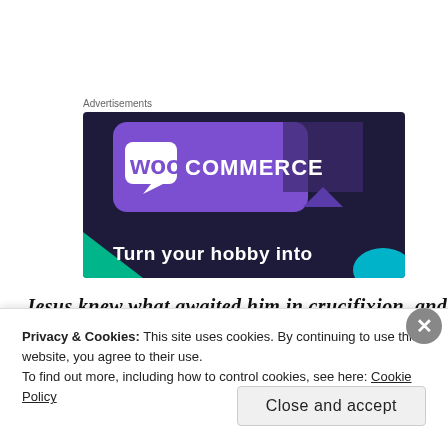Advertisements
[Figure (illustration): WooCommerce advertisement banner with purple and dark navy background, WooCommerce logo at top left, and text 'Turn your hobby into' at bottom. Green triangle accent at bottom left, teal accent at bottom right.]
Jesus knew what awaited him in crucifixion, and
Privacy & Cookies: This site uses cookies. By continuing to use this website, you agree to their use.
To find out more, including how to control cookies, see here: Cookie Policy
Close and accept